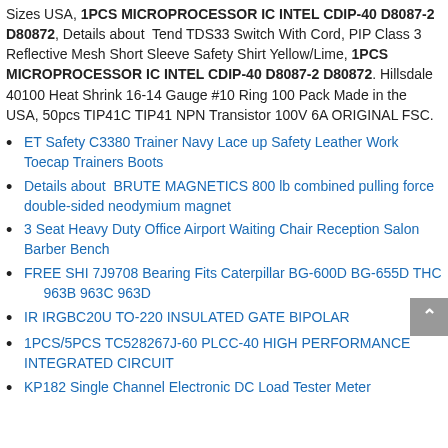Sizes USA, 1PCS MICROPROCESSOR IC INTEL CDIP-40 D8087-2 D80872, Details about Tend TDS33 Switch With Cord, PIP Class 3 Reflective Mesh Short Sleeve Safety Shirt Yellow/Lime, 1PCS MICROPROCESSOR IC INTEL CDIP-40 D8087-2 D80872. Hillsdale 40100 Heat Shrink 16-14 Gauge #10 Ring 100 Pack Made in the USA, 50pcs TIP41C TIP41 NPN Transistor 100V 6A ORIGINAL FSC.
ET Safety C3380 Trainer Navy Lace up Safety Leather Work Toecap Trainers Boots
Details about BRUTE MAGNETICS 800 lb combined pulling force double-sided neodymium magnet
3 Seat Heavy Duty Office Airport Waiting Chair Reception Salon Barber Bench
FREE SHI 7J9708 Bearing Fits Caterpillar BG-600D BG-655D THC 963B 963C 963D
IR IRGBC20U TO-220 INSULATED GATE BIPOLAR
1PCS/5PCS TC528267J-60 PLCC-40 HIGH PERFORMANCE INTEGRATED CIRCUIT
KP182 Single Channel Electronic DC Load Tester Meter